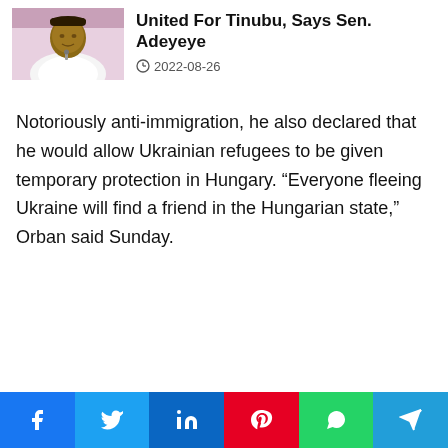[Figure (photo): Portrait photo of a man in white clothing]
United For Tinubu, Says Sen. Adeyeye
2022-08-26
Notoriously anti-immigration, he also declared that he would allow Ukrainian refugees to be given temporary protection in Hungary. “Everyone fleeing Ukraine will find a friend in the Hungarian state,” Orban said Sunday.
Facebook Twitter LinkedIn Pinterest WhatsApp Telegram